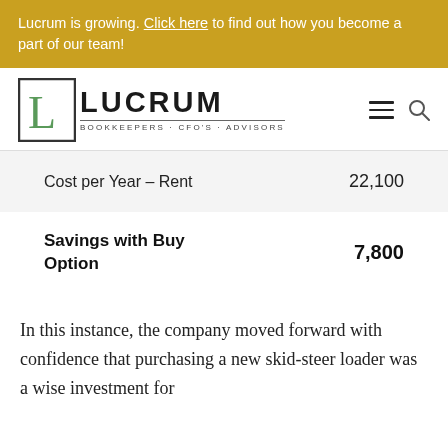Lucrum is growing. Click here to find out how you become a part of our team!
[Figure (logo): Lucrum logo with square L icon and text LUCRUM BOOKKEEPERS · CFO'S · ADVISORS, plus hamburger menu and search icon]
| Cost per Year – Rent | 22,100 |
| Savings with Buy Option | 7,800 |
In this instance, the company moved forward with confidence that purchasing a new skid-steer loader was a wise investment for...